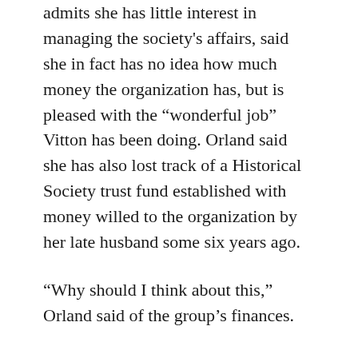admits she has little interest in managing the society's affairs, said she in fact has no idea how much money the organization has, but is pleased with the “wonderful job” Vitton has been doing. Orland said she has also lost track of a Historical Society trust fund established with money willed to the organization by her late husband some six years ago.
“Why should I think about this,” Orland said of the group’s finances.
Since he began volunteering with the Historical Society eight years ago, Vitton said the organization’s bank account has grown from the $14,000 that was there when he started. He declined to say exactly how much money the society has, but said the non-profit group